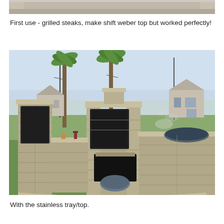[Figure (photo): Partial top edge of a photo showing an outdoor masonry grill structure]
First use - grilled steaks, make shift weber top but worked perfectly!
[Figure (photo): Outdoor cinder block/masonry BBQ grill and kitchen structure on a grassy yard with palm trees and houses in the background. The L-shaped structure has dark metal panels, a firebox opening, and a grilling area on the right with smoke. A bag of charcoal sits on the ground in front.]
With the stainless tray/top.